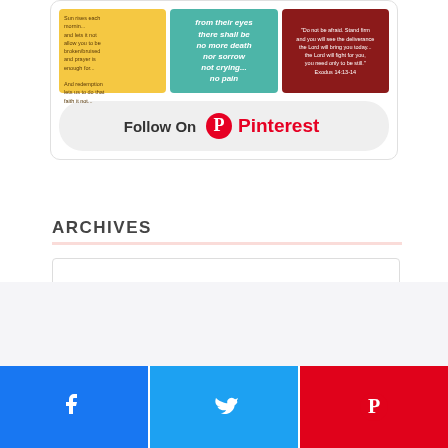[Figure (screenshot): Pinterest widget showing three pinned image tiles with inspirational/religious quotes, followed by a 'Follow On Pinterest' button]
ARCHIVES
Select Month
[Figure (infographic): Social share bar with Facebook, Twitter, and Pinterest buttons at page bottom]